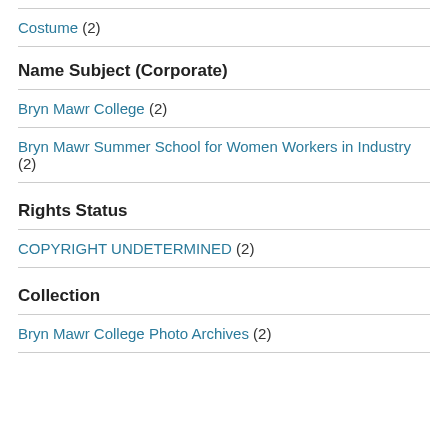Costume (2)
Name Subject (Corporate)
Bryn Mawr College (2)
Bryn Mawr Summer School for Women Workers in Industry (2)
Rights Status
COPYRIGHT UNDETERMINED (2)
Collection
Bryn Mawr College Photo Archives (2)